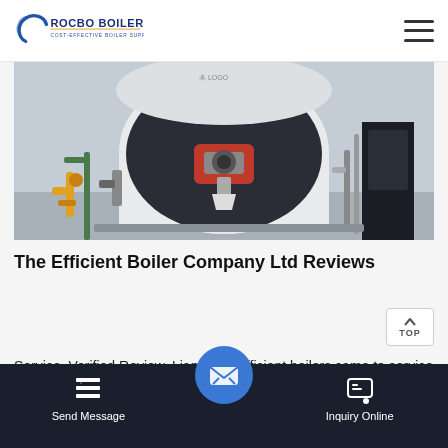ROCBO BOILER — COST-EFFECTIVE BOILER SUPPLIER
[Figure (photo): Industrial boiler installation in a factory setting, showing a large horizontal fire-tube boiler with red burner assembly, yellow gas piping, and supporting equipment.]
The Efficient Boiler Company Ltd Reviews
Service. Verified Review. Liam from efficient boilers came to service the boiler which the company had installed in 2019, both the installation and service was done efficiently and in a friendly manner, good advice and left everything clean and tidy, would…